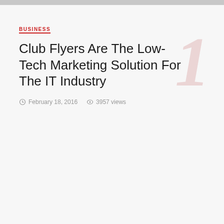BUSINESS
Club Flyers Are The Low-Tech Marketing Solution For The IT Industry
February 18, 2016  3957 views